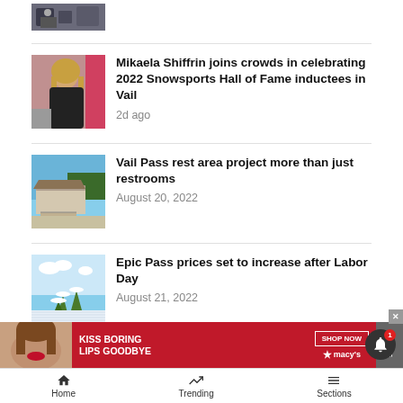[Figure (photo): Partial thumbnail of crowd/ski event at top of list]
Mikaela Shiffrin joins crowds in celebrating 2022 Snowsports Hall of Fame inductees in Vail
2d ago
[Figure (photo): Thumbnail of Vail Pass rest area building]
Vail Pass rest area project more than just restrooms
August 20, 2022
[Figure (photo): Thumbnail of ski slope with snow and trees]
Epic Pass prices set to increase after Labor Day
August 21, 2022
[Figure (photo): Macy's advertisement banner: Kiss Boring Lips Goodbye, Shop Now]
Home    Trending    Sections